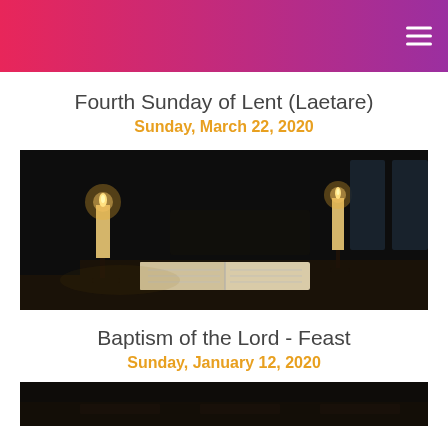Fourth Sunday of Lent (Laetare)
Sunday, March 22, 2020
[Figure (photo): Dark church interior with two lit candles on candlesticks and an open book/Bible on a table, pews and windows visible in background]
Baptism of the Lord - Feast
Sunday, January 12, 2020
[Figure (photo): Dark church interior, bottom portion of image visible]